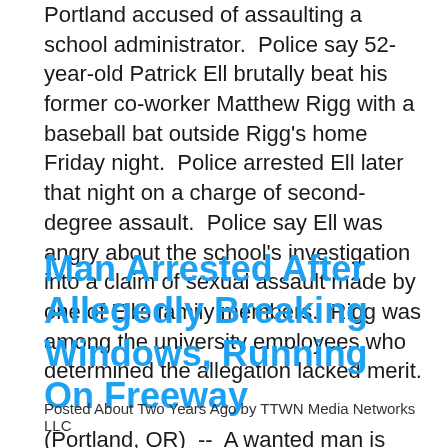Portland accused of assaulting a school administrator. Police say 52-year-old Patrick Ell brutally beat his former co-worker Matthew Rigg with a baseball bat outside Rigg's home Friday night. Police arrested Ell later that night on a charge of second-degree assault. Police say Ell was angry about the school's investigation into a claim of sexual assault made by one of Ell's family members. Rigg was among the university employees who determined the allegation lacked merit.
Man Arrested After Allegedly Breaking Windows, Running On Freeway
Posted About Two Years Ago by TTWN Media Networks LLC
(Portland, OR) -- A wanted man is facing new charges